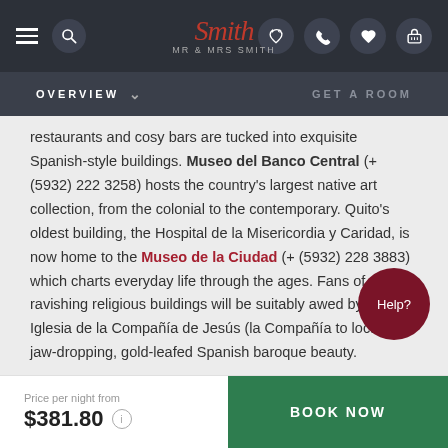Mr & Mrs Smith — Navigation bar with logo, search, phone, heart, and luggage icons
OVERVIEW    GET A ROOM
restaurants and cosy bars are tucked into exquisite Spanish-style buildings. Museo del Banco Central (+（5932) 222 3258) hosts the country's largest native art collection, from the colonial to the contemporary. Quito's oldest building, the Hospital de la Misericordia y Caridad, is now home to the Museo de la Ciudad (+ (5932) 228 3883) which charts everyday life through the ages. Fans of ravishing religious buildings will be suitably awed by La Iglesia de la Compañía de Jesús (la Compañía to locals): a jaw-dropping, gold-leafed Spanish baroque beauty.
Those who want a real eyeful of the city – and aren't pro vertigo – can take a ride on the TelefériQo, one of the highest
Price per night from $381.80    BOOK NOW